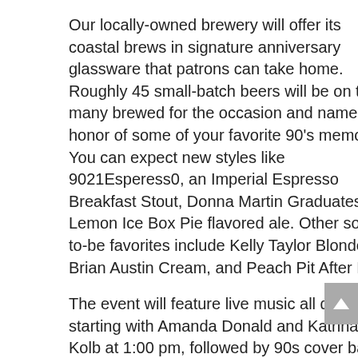Our locally-owned brewery will offer its coastal brews in signature anniversary glassware that patrons can take home. Roughly 45 small-batch beers will be on tap, many brewed for the occasion and named in honor of some of your favorite 90's memories. You can expect new styles like 9021Esperess0, an Imperial Espresso Breakfast Stout, Donna Martin Graduates, a Lemon Ice Box Pie flavored ale. Other soon-to-be favorites include Kelly Taylor Blonde, Brian Austin Cream, and Peach Pit After Dark.
The event will feature live music all day, starting with Amanda Donald and Katrina Kolb at 1:00 pm, followed by 90s cover band Matchbox Rodeo at 3:00 pm and The Bees Wheeze, a Weezer tribute band at 6:00 pm. Bleus Burger and Tin Tin rock and Roll Food Trucks will be on-site, and a $10 cover at the door will get guests a comparative glass to take home.
What: